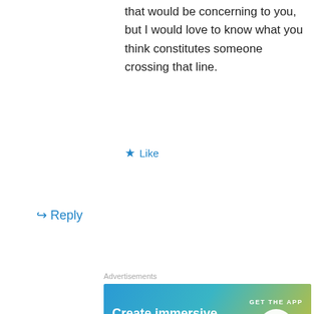that would be concerning to you, but I would love to know what you think constitutes someone crossing that line.
★ Like
↪ Reply
Advertisements
[Figure (illustration): WordPress advertisement banner: Create immersive stories. GET THE APP with WordPress logo.]
lhdesigns1 on March 12, 2015 at 10:07 am
Privacy & Cookies: This site uses cookies. By continuing to use this website, you agree to their use.
To find out more, including how to control cookies, see here: Cookie Policy
Close and accept
beautiful as well 🙂